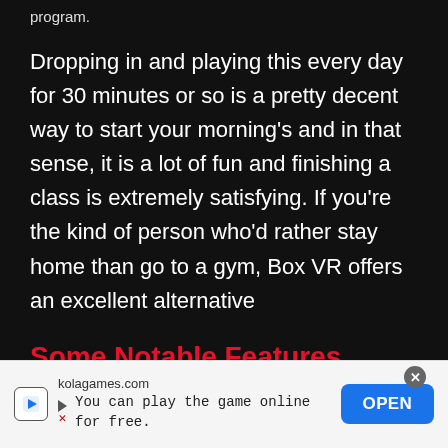program.
Dropping in and playing this every day for 30 minutes or so is a pretty decent way to start your morning’s and in that sense, it is a lot of fun and finishing a class is extremely satisfying. If you’re the kind of person who’d rather stay home than go to a gym, Box VR offers an excellent alternative
Some Notable Features…
Intense VR Fitness Game
kolagames.com
You can play the game online for free.